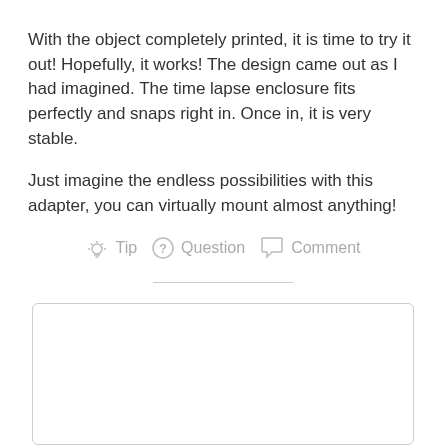With the object completely printed, it is time to try it out! Hopefully, it works! The design came out as I had imagined. The time lapse enclosure fits perfectly and snaps right in. Once in, it is very stable.
Just imagine the endless possibilities with this adapter, you can virtually mount almost anything!
[Figure (infographic): Interactive action icons row: lightbulb icon labeled Tip, question mark circle icon labeled Question, speech bubble icon labeled Comment — all in gray]
[Figure (other): Empty comment input box with rounded border rectangle]